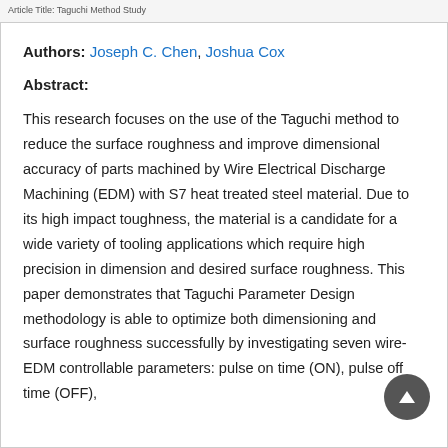Article: Taguchi method study
Authors: Joseph C. Chen, Joshua Cox
Abstract:
This research focuses on the use of the Taguchi method to reduce the surface roughness and improve dimensional accuracy of parts machined by Wire Electrical Discharge Machining (EDM) with S7 heat treated steel material. Due to its high impact toughness, the material is a candidate for a wide variety of tooling applications which require high precision in dimension and desired surface roughness. This paper demonstrates that Taguchi Parameter Design methodology is able to optimize both dimensioning and surface roughness successfully by investigating seven wire-EDM controllable parameters: pulse on time (ON), pulse off time (OFF),